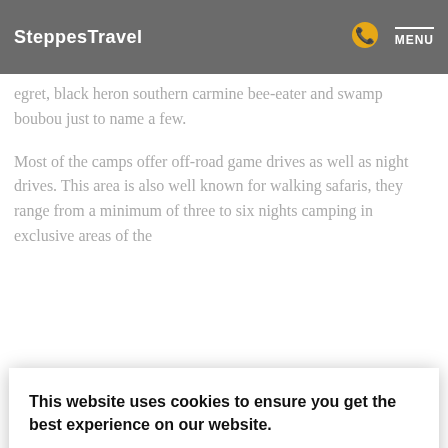SteppesTravel MENU
egret, black heron southern carmine bee-eater and swamp boubou just to name a few.
Most of the camps offer off-road game drives as well as night drives. This area is also well known for walking safaris, they range from a minimum of three to six nights camping in exclusive areas of the
[Figure (screenshot): Cookie consent modal dialog with text: 'This website uses cookies to ensure you get the best experience on our website.' with 'Our cookie policy' link and 'I AGREE' button]
My second stop was another area in the western